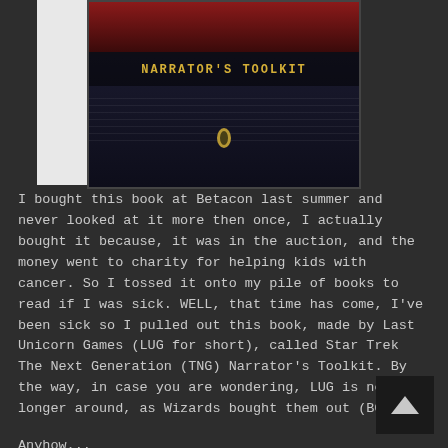[Figure (photo): Book cover of Star Trek The Next Generation Narrator's Toolkit by Last Unicorn Games, showing a dark cover with the title in gold letters and a Starfleet insignia emblem]
I bought this book at Betacon last summer and never looked at it more then once, I actually bought it because, it was in the auction, and the money went to charity for helping kids with cancer. So I tossed it onto my pile of books to read if I was sick. WELL, that time has come, I've been sick so I pulled out this book, made by Last Unicorn Games (LUG for short), called Star Trek The Next Generation (TNG) Narrator's Toolkit. By the way, in case you are wondering, LUG is no longer around, as Wizards bought them out (BOO!).
Anyhow...